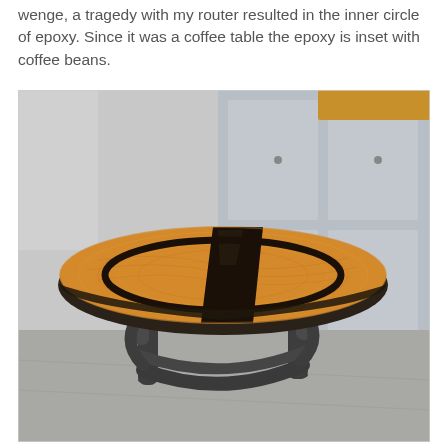wenge, a tragedy with my router resulted in the inner circle of epoxy. Since it was a coffee table the epoxy is inset with coffee beans.
[Figure (photo): A round coffee table with a light wood (wenge) top featuring a dark wood/epoxy stripe running diagonally across the center, and a circular inset of dark epoxy near the edge. The table has dark metal tube legs forming curved supports. The table is photographed in what appears to be a workshop or office space with grey storage cabinets in the background.]